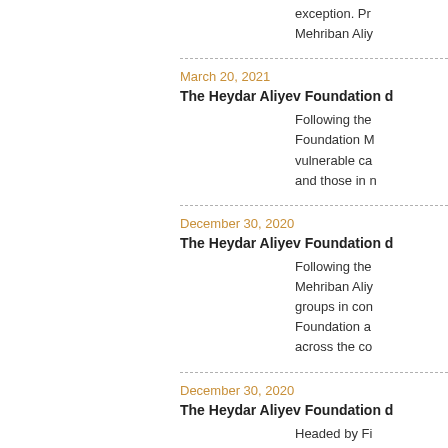exception. Pr
Mehriban Aliy
March 20, 2021
The Heydar Aliyev Foundation d
Following the
Foundation M
vulnerable ca
and those in n
December 30, 2020
The Heydar Aliyev Foundation d
Following the
Mehriban Aliy
groups in con
Foundation a
across the co
December 30, 2020
The Heydar Aliyev Foundation d
Headed by Fi
inhabitants of
the New Year